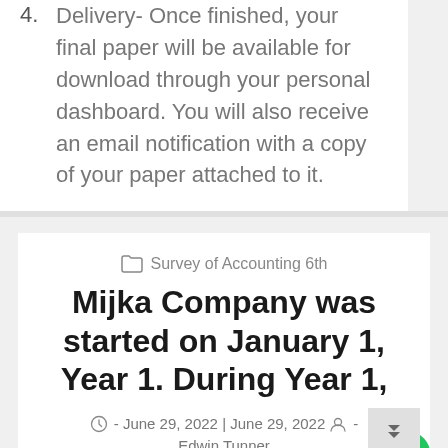4. Delivery- Once finished, your final paper will be available for download through your personal dashboard. You will also receive an email notification with a copy of your paper attached to it.
Survey of Accounting 6th
Mijka Company was started on January 1, Year 1. During Year 1,
June 29, 2022 | June 29, 2022   Edwin Tunner